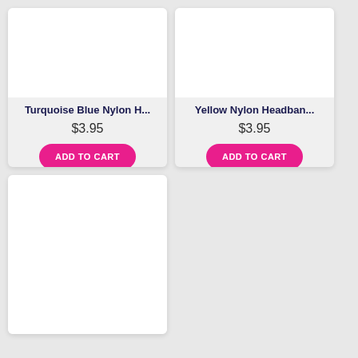[Figure (photo): Product image placeholder (white rectangle) for Turquoise Blue Nylon Headband]
Turquoise Blue Nylon H...
$3.95
ADD TO CART
[Figure (photo): Product image placeholder (white rectangle) for Yellow Nylon Headband]
Yellow Nylon Headban...
$3.95
ADD TO CART
[Figure (photo): Product image placeholder (white rectangle) for Light Purple Nylon Headband]
Light Purple Nylon Hea...